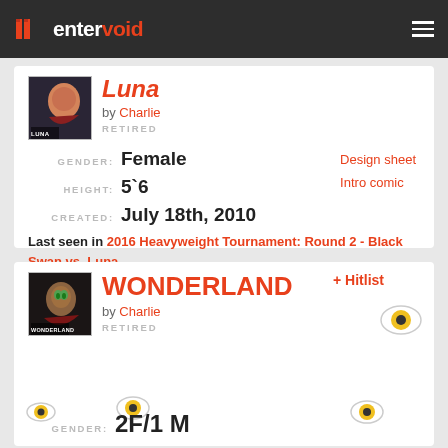entervoid
Luna
by Charlie
RETIRED
GENDER: Female
HEIGHT: 5`6
CREATED: July 18th, 2010
Design sheet
Intro comic
Last seen in 2016 Heavyweight Tournament: Round 2 - Black Swan vs. Luna
WONDERLAND
by Charlie
RETIRED
+ Hitlist
GENDER: 2F/1 M